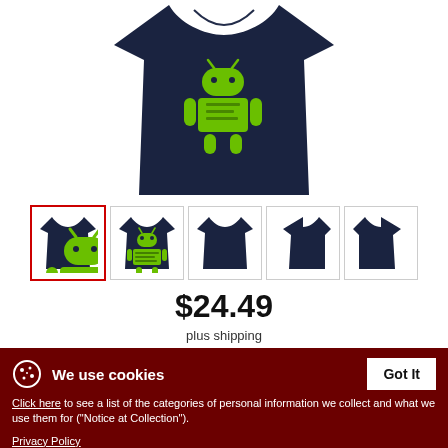[Figure (photo): Close-up of a dark navy t-shirt with a green Android robot graphic design on the front, shown from above/front angle]
[Figure (photo): Row of 5 thumbnail product images of the navy android t-shirt showing front, back, plain front, left side, and right side views]
$24.49
plus shipping
We use cookies
Click here to see a list of the categories of personal information we collect and what we use them for ("Notice at Collection").
Privacy Policy
Do Not Sell My Personal Information
By using this website, I agree to the Terms and Conditions